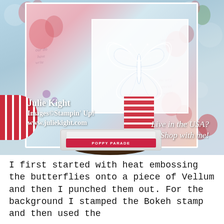[Figure (photo): A crafting photo showing a handmade card with a white heat-embossed butterfly on vellum, placed on a floral patterned card background with red striped ribbon. A Poppy Parade ink pad sits at the bottom. Red ribbon is visible at left. Overlaid watermarks read: Julie Kight, Images©Stampin Up!, www.juliekight.com. Script text at bottom right reads: Live in the USA? Shop with me!]
I first started with heat embossing the butterflies onto a piece of Vellum and then I punched them out. For the background I stamped the Bokeh stamp and then used the